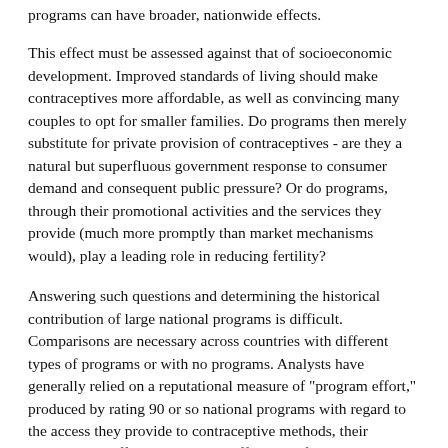programs can have broader, nationwide effects.
This effect must be assessed against that of socioeconomic development. Improved standards of living should make contraceptives more affordable, as well as convincing many couples to opt for smaller families. Do programs then merely substitute for private provision of contraceptives - are they a natural but superfluous government response to consumer demand and consequent public pressure? Or do programs, through their promotional activities and the services they provide (much more promptly than market mechanisms would), play a leading role in reducing fertility?
Answering such questions and determining the historical contribution of large national programs is difficult. Comparisons are necessary across countries with different types of programs or with no programs. Analysts have generally relied on a reputational measure of "program effort," produced by rating 90 or so national programs with regard to the access they provide to contraceptive methods, their management effectiveness, their efforts at informing and